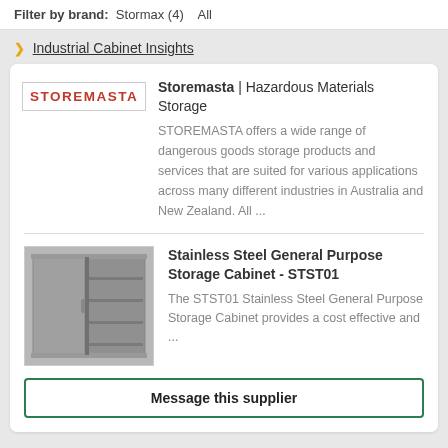Filter by brand: Stormax (4)   All
Industrial Cabinet Insights
Storemasta | Hazardous Materials Storage
STOREMASTA offers a wide range of dangerous goods storage products and services that are suited for various applications across many different industries in Australia and New Zealand. All ...
Stainless Steel General Purpose Storage Cabinet - STST01
The STST01 Stainless Steel General Purpose Storage Cabinet provides a cost effective and ...
Message this supplier